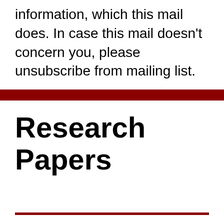information, which this mail does. In case this mail doesn't concern you, please unsubscribe from mailing list.
Research Papers